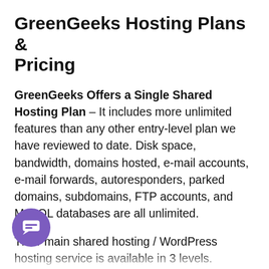GreenGeeks Hosting Plans & Pricing
GreenGeeks Offers a Single Shared Hosting Plan – It includes more unlimited features than any other entry-level plan we have reviewed to date. Disk space, bandwidth, domains hosted, e-mail accounts, e-mail forwards, autoresponders, parked domains, subdomains, FTP accounts, and MySQL databases are all unlimited.
Their main shared hosting / WordPress hosting service is available in 3 levels.
Lite – 1 WordPress install
Pro – The Pro plan includes unlimited websites with 2x performance